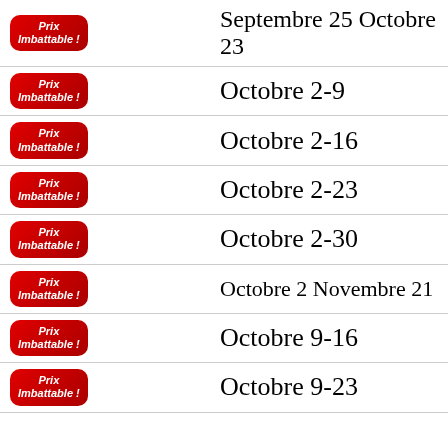| Badge | Date |
| --- | --- |
| Prix Imbattable ! | Septembre 25 Octobre 23 |
| Prix Imbattable ! | Octobre 2-9 |
| Prix Imbattable ! | Octobre 2-16 |
| Prix Imbattable ! | Octobre 2-23 |
| Prix Imbattable ! | Octobre 2-30 |
| Prix Imbattable ! | Octobre 2 Novembre 21 |
| Prix Imbattable ! | Octobre 9-16 |
| Prix Imbattable ! | Octobre 9-23 |